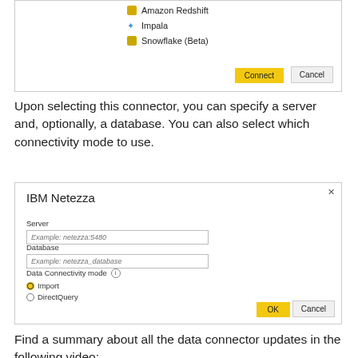[Figure (screenshot): Partial dialog showing a list of connectors: Amazon Redshift, Impala (with blue diamond icon), Snowflake (Beta), and Connect/Cancel buttons at the bottom right.]
Upon selecting this connector, you can specify a server and, optionally, a database. You can also select which connectivity mode to use.
[Figure (screenshot): IBM Netezza dialog box with Server field (placeholder: Example: netezza:5480), Database field (placeholder: Example: netezza database), Data Connectivity mode section with Import (selected) and DirectQuery radio buttons, and OK/Cancel buttons.]
Find a summary about all the data connector updates in the following video: